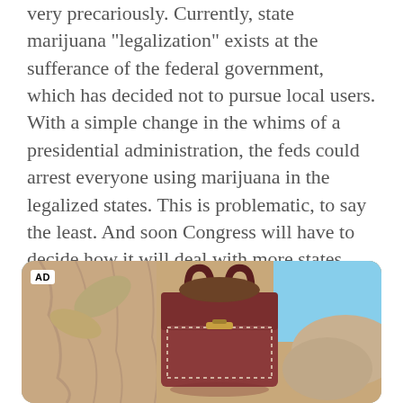very precariously. Currently, state marijuana "legalization" exists at the sufferance of the federal government, which has decided not to pursue local users. With a simple change in the whims of a presidential administration, the feds could arrest everyone using marijuana in the legalized states. This is problematic, to say the least. And soon Congress will have to decide how it will deal with more states pushing back against federal control.
[Figure (photo): Advertisement image showing a person holding a brown/burgundy leather handbag against a light sandy background with blue sky. 'AD' label in top-left corner.]